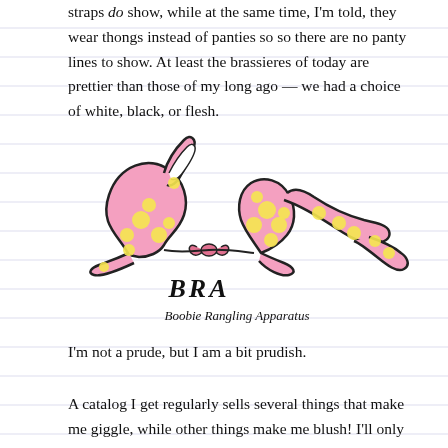straps do show, while at the same time, I'm told, they wear thongs instead of panties so so there are no panty lines to show. At least the brassieres of today are prettier than those of my long ago — we had a choice of white, black, or flesh.
[Figure (illustration): Cartoon illustration of a pink polka-dot bra with yellow dots, with text 'BRA' in decorative script and subtitle 'Boobie Rangling Apparatus' below]
I'm not a prude, but I am a bit prudish.
A catalog I get regularly sells several things that make me giggle, while other things make me blush! I'll only list those that relate to the part of the anatomy that